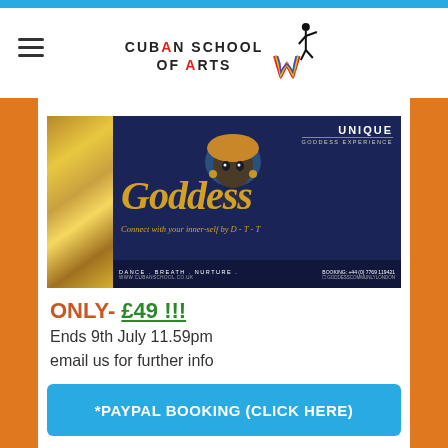Cuban School of Arts
[Figure (illustration): Goddess Golden Pass promotional banner: gold left strip with cursive 'Golden pass' text, dark navy blue right section with a woman illustration wearing gold head wrap, large gold cursive 'Goddess' text, tagline 'Connect with your inner-self by D-T-T', bottom bar with 'DANCE . BREATH . NURTURE' and booking info, 'UNIQUE GODDESS EXPERIENCE' in upper right corner]
ONLY- £49 !!!
Ends 9th July 11.59pm
email us for further info
*PAYPAL BOOKING (CLICK HERE)